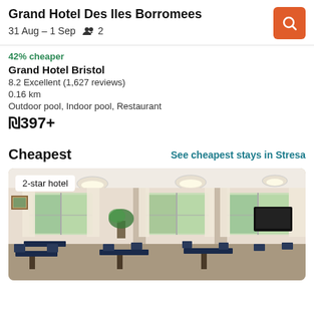Grand Hotel Des Iles Borromees
31 Aug – 1 Sep  👥 2
42% cheaper
Grand Hotel Bristol
8.2 Excellent (1,627 reviews)
0.16 km
Outdoor pool, Indoor pool, Restaurant
₪397+
Cheapest
See cheapest stays in Stresa
[Figure (photo): Interior photo of a hotel dining room or lounge with cream curtains, round ceiling lights, tables with dark tablecloths, and plants. A badge reads '2-star hotel'.]